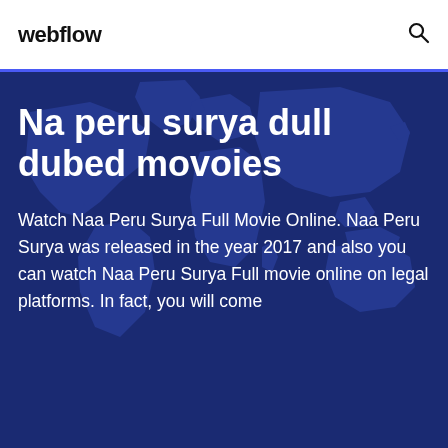webflow
[Figure (illustration): World map silhouette in dark blue tones used as background for hero section]
Na peru surya dull dubed movoies
Watch Naa Peru Surya Full Movie Online. Naa Peru Surya was released in the year 2017 and also you can watch Naa Peru Surya Full movie online on legal platforms. In fact, you will come